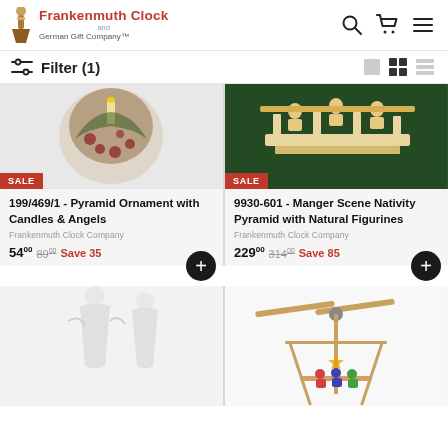Frankenmuth Clock and German Gift Company™
Filter (1)
[Figure (photo): Pyramid Ornament with Candles & Angels product photo with SALE badge]
199/469/1 - Pyramid Ornament with Candles & Angels
Frankenmuth Clock Company
54.00  89.00  Save 35
[Figure (photo): Manger Scene Nativity Pyramid with Natural Figurines product photo with SALE badge]
9930-601 - Manger Scene Nativity Pyramid with Natural Figurines
Frankenmuth Clock Company
229.00  314.00  Save 85
[Figure (photo): White figurine product photo (bottom left, partially visible)]
[Figure (photo): Pyramid toy with propeller and figurines (bottom right, partially visible)]